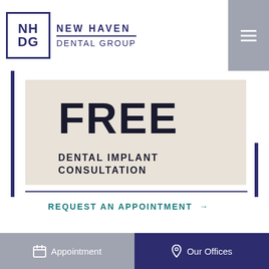[Figure (logo): New Haven Dental Group logo with NHDG initials in navy square and text to the right]
FREE DENTAL IMPLANT CONSULTATION
REQUEST AN APPOINTMENT →
BRACES OFFER
FREE ONE MONTH FREE
Appointment   Our Offices